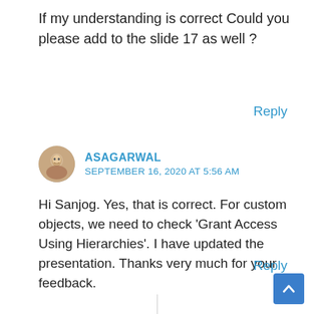If my understanding is correct Could you please add to the slide 17 as well ?
Reply
ASAGARWAL
SEPTEMBER 16, 2020 AT 5:56 AM
Hi Sanjog. Yes, that is correct. For custom objects, we need to check ‘Grant Access Using Hierarchies’. I have updated the presentation. Thanks very much for your feedback.
Reply